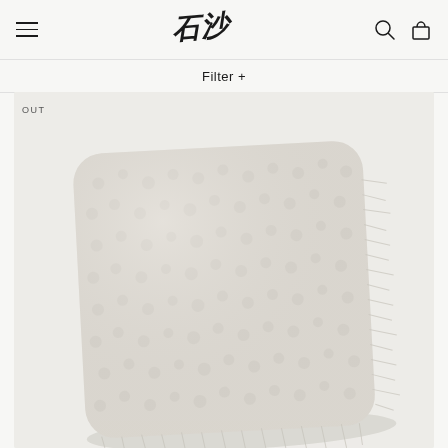Navigation header with hamburger menu, logo, search and cart icons
Filter +
OUT
[Figure (photo): A fluffy, textured cream/ivory square pillow with fringe edges, photographed on a light background]